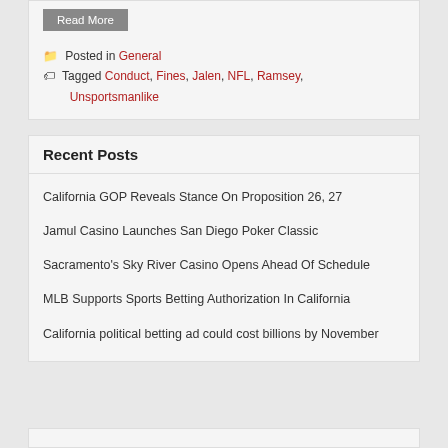Read More
Posted in General
Tagged Conduct, Fines, Jalen, NFL, Ramsey, Unsportsmanlike
Recent Posts
California GOP Reveals Stance On Proposition 26, 27
Jamul Casino Launches San Diego Poker Classic
Sacramento's Sky River Casino Opens Ahead Of Schedule
MLB Supports Sports Betting Authorization In California
California political betting ad could cost billions by November